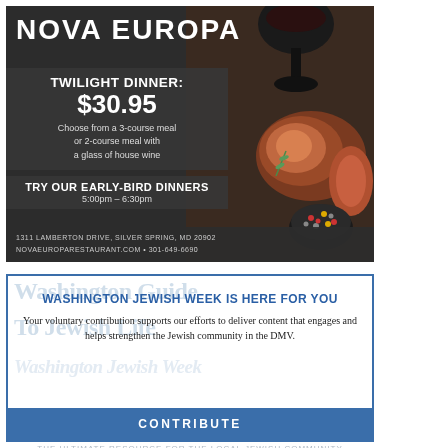[Figure (illustration): Nova Europa restaurant advertisement showing a dark background with steak and wine images. Text reads: NOVA EUROPA, TWILIGHT DINNER: $30.95, Choose from a 3-course meal or 2-course meal with a glass of house wine, TRY OUR EARLY-BIRD DINNERS 5:00pm - 6:30pm, 1311 LAMBERTON DRIVE, SILVER SPRING, MD 20902, NOVAEUROPARESTAURANT.COM • 301-649-6690]
[Figure (screenshot): Washington Jewish Week paywall overlay with Washington Guide To Jewish Life header text visible in blue watermark behind the paywall message.]
WASHINGTON JEWISH WEEK IS HERE FOR YOU
Your voluntary contribution supports our efforts to deliver content that engages and helps strengthen the Jewish community in the DMV.
CONTRIBUTE
THE ULTIMATE RESOURCE FOR THE LOCAL JEWISH COMMUNITY